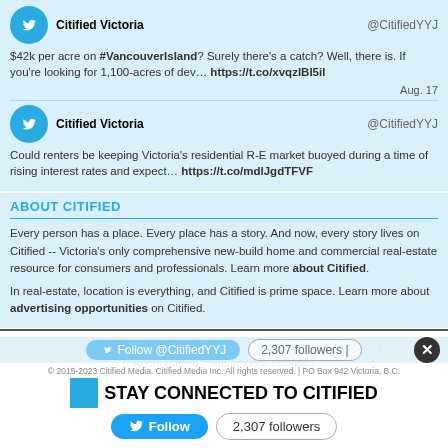$42k per acre on #VancouverIsland? Surely there's a catch? Well, there is. If you're looking for 1,100-acres of dev… https://t.co/xvqzlBl5il
Aug. 17
Could renters be keeping Victoria's residential R-E market buoyed during a time of rising interest rates and expect… https://t.co/mdlJgdTFVF
ABOUT CITIFIED
Every person has a place. Every place has a story. And now, every story lives on Citified -- Victoria's only comprehensive new-build home and commercial real-estate resource for consumers and professionals. Learn more about Citified.
In real-estate, location is everything, and Citified is prime space. Learn more about advertising opportunities on Citified.
Citified Plus - Advertise On Citified | Citified Pro | Privacy Policy | About Citified | Submit Data | Contact
STAY CONNECTED TO CITIFIED
Follow  2,307 followers